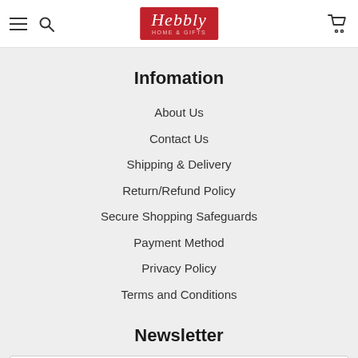Hebbly — navigation header with hamburger menu, search, logo, and cart
Infomation
About Us
Contact Us
Shipping & Delivery
Return/Refund Policy
Secure Shopping Safeguards
Payment Method
Privacy Policy
Terms and Conditions
Newsletter
Email